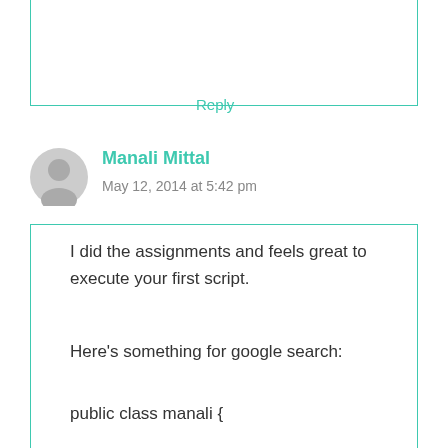Reply
Manali Mittal
May 12, 2014 at 5:42 pm
I did the assignments and feels great to execute your first script.
Here's something for google search:
public class manali {